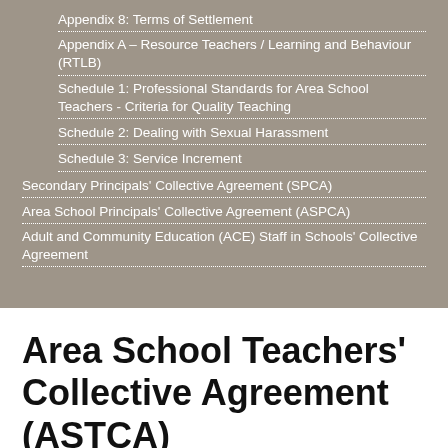Appendix 8: Terms of Settlement
Appendix A – Resource Teachers / Learning and Behaviour (RTLB)
Schedule 1: Professional Standards for Area School Teachers - Criteria for Quality Teaching
Schedule 2: Dealing with Sexual Harassment
Schedule 3: Service Increment
Secondary Principals' Collective Agreement (SPCA)
Area School Principals' Collective Agreement (ASPCA)
Adult and Community Education (ACE) Staff in Schools' Collective Agreement
Area School Teachers' Collective Agreement (ASTCA)